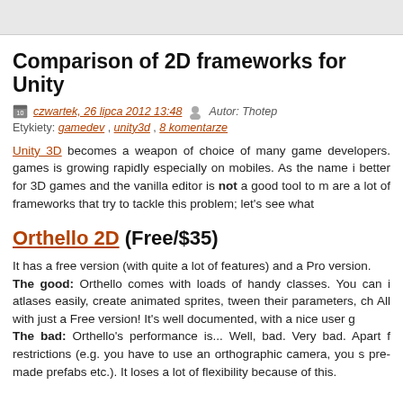Comparison of 2D frameworks for Unity
czwartek, 26 lipca 2012 13:48  Autor: Thotep
Etykiety: gamedev , unity3d , 8 komentarze
Unity 3D becomes a weapon of choice of many game developers. games is growing rapidly especially on mobiles. As the name i better for 3D games and the vanilla editor is not a good tool to m are a lot of frameworks that try to tackle this problem; let's see what
Orthello 2D (Free/$35)
It has a free version (with quite a lot of features) and a Pro version. The good: Orthello comes with loads of handy classes. You can i atlases easily, create animated sprites, tween their parameters, ch All with just a Free version! It's well documented, with a nice user g The bad: Orthello's performance is... Well, bad. Very bad. Apart f restrictions (e.g. you have to use an orthographic camera, you s pre-made prefabs etc.). It loses a lot of flexibility because of this.